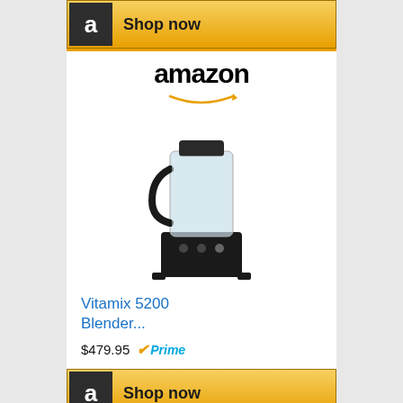[Figure (screenshot): Amazon 'Shop now' button with Amazon 'a' logo icon on dark background, gold gradient button]
[Figure (screenshot): Amazon product card showing amazon logo with smile arrow, Vitamix 5200 Blender product image, product title 'Vitamix 5200 Blender...' in blue, price $479.95 with Prime badge]
[Figure (screenshot): Amazon 'Shop now' button second instance]
[Figure (screenshot): Amazon product card showing amazon logo with smile arrow, Omega Juicers Nutrition product image of a silver/black juicer machine, product title 'Omega Juicers Nutri...' in blue]